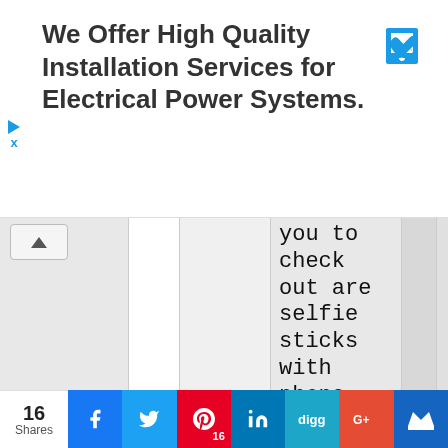[Figure (screenshot): Advertisement banner: 'We Offer High Quality Installation Services for Electrical Power Systems.' with a blue phone icon and a play/close button on the left side.]
you to check out are selfie sticks with phone holders that can be rotated. That way, you get to
[Figure (screenshot): Social share bar with 16 Shares, Facebook, Twitter, Pinterest (16), LinkedIn, Digg, Google+, and a crown/kingdom button.]